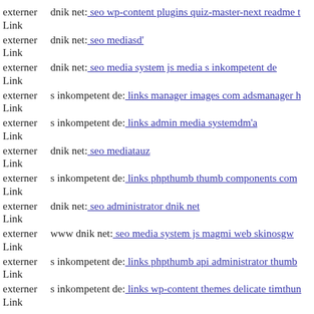externer Link  dnik net: seo wp-content plugins quiz-master-next readme t
externer Link  dnik net: seo mediasd'
externer Link  dnik net: seo media system js media s inkompetent de
externer Link  s inkompetent de: links manager images com adsmanager h
externer Link  s inkompetent de: links admin media systemdm'a
externer Link  dnik net: seo mediatauz
externer Link  s inkompetent de: links phpthumb thumb components com
externer Link  dnik net: seo administrator dnik net
externer Link  www dnik net: seo media system js magmi web skinosgw
externer Link  s inkompetent de: links phpthumb api administrator thumb
externer Link  s inkompetent de: links wp-content themes delicate timthun